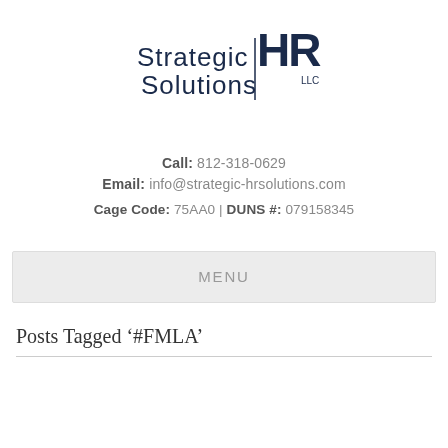[Figure (logo): Strategic HR Solutions LLC logo with large bold HR letters and thin-stroke 'Strategic' and 'Solutions' text]
Call: 812-318-0629
Email: info@strategic-hrsolutions.com
Cage Code: 75AA0 | DUNS #: 079158345
MENU
Posts Tagged '#FMLA'